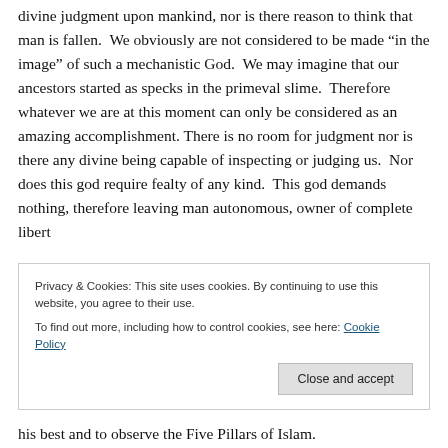divine judgment upon mankind, nor is there reason to think that man is fallen. We obviously are not considered to be made “in the image” of such a mechanistic God. We may imagine that our ancestors started as specks in the primeval slime. Therefore whatever we are at this moment can only be considered as an amazing accomplishment. There is no room for judgment nor is there any divine being capable of inspecting or judging us. Nor does this god require fealty of any kind. This god demands nothing, therefore leaving man autonomous, owner of complete libert...
his best and to observe the Five Pillars of Islam.
Privacy & Cookies: This site uses cookies. By continuing to use this website, you agree to their use.
To find out more, including how to control cookies, see here: Cookie Policy